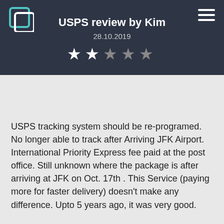[Figure (logo): Chat/review site logo in teal and white]
USPS review by Kim
28.10.2019
[Figure (other): 2 out of 5 stars rating — two white stars filled, three grey stars]
USPS tracking system should be re-programed. No longer able to track after Arriving JFK Airport. International Priority Express fee paid at the post office. Still unknown where the package is after arriving at JFK on Oct. 17th . This Service (paying more for faster delivery) doesn't make any difference. Upto 5 years ago, it was very good.